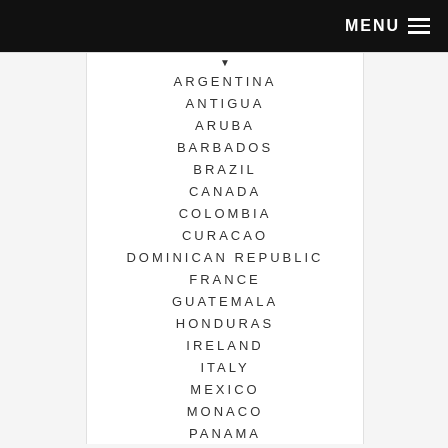MENU
ARGENTINA
ANTIGUA
ARUBA
BARBADOS
BRAZIL
CANADA
COLOMBIA
CURACAO
DOMINICAN REPUBLIC
FRANCE
GUATEMALA
HONDURAS
IRELAND
ITALY
MEXICO
MONACO
PANAMA